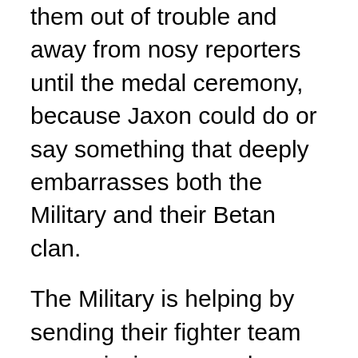them out of trouble and away from nosy reporters until the medal ceremony, because Jaxon could do or say something that deeply embarrasses both the Military and their Betan clan.
The Military is helping by sending their fighter team on a mission somewhere inconspicuously boring until the medal ceremony. That destination definitely won't be Hestia, the perpetual trouble spot of humanity. This series is a spinoff from Edwards' very popular Earth Girl series and I highly recommend that you read the short story 'Hera 2781' before tucking into this one, as